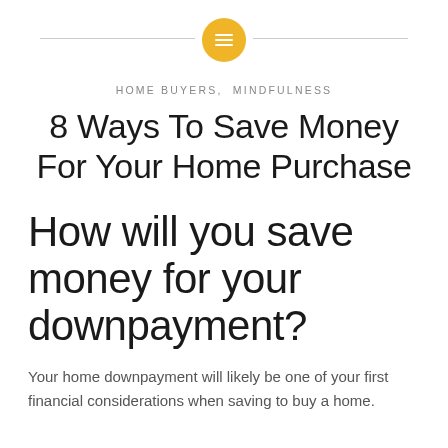[Figure (logo): Golden/amber circular icon with horizontal lines (menu/list icon) centered at top, with thin gray horizontal lines extending left and right]
HOME BUYERS, MINDFULNESS
8 Ways To Save Money For Your Home Purchase
How will you save money for your downpayment?
Your home downpayment will likely be one of your first financial considerations when saving to buy a home.